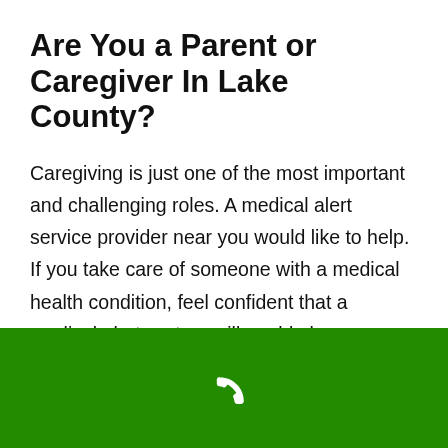Are You a Parent or Caregiver In Lake County?
Caregiving is just one of the most important and challenging roles. A medical alert service provider near you would like to help. If you take care of someone with a medical health condition, feel confident that a medical alert system will enable law enforcement, paramedics and other EMTs to identify your family member's health condition if you can't be there for them. Ask for the "Family Notification Service" and you will be informed immediately of your loved one's situation and
[Figure (illustration): Green footer bar with a white telephone handset icon centered]